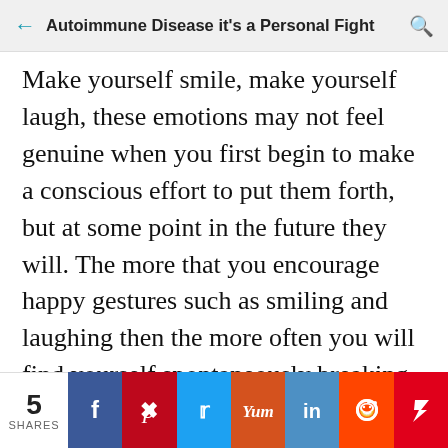Autoimmune Disease it's a Personal Fight
Make yourself smile, make yourself laugh, these emotions may not feel genuine when you first begin to make a conscious effort to put them forth, but at some point in the future they will. The more that you encourage happy gestures such as smiling and laughing then the more often you will find yourself spontaneously breaking into a laugh or smile.
5 SHARES | Facebook | Pinterest | Twitter | Yummly | LinkedIn | Reddit | Flipboard